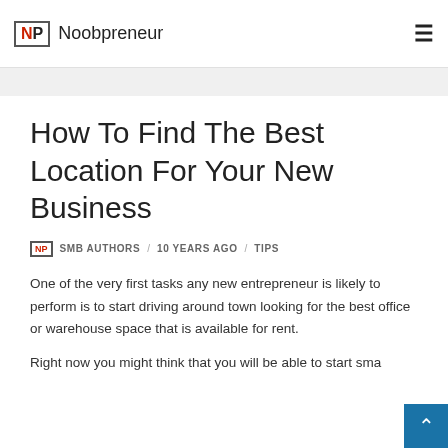NP Noobpreneur
How To Find The Best Location For Your New Business
SMB AUTHORS / 10 YEARS AGO / TIPS
One of the very first tasks any new entrepreneur is likely to perform is to start driving around town looking for the best office or warehouse space that is available for rent.
Right now you might think that you will be able to start sma...